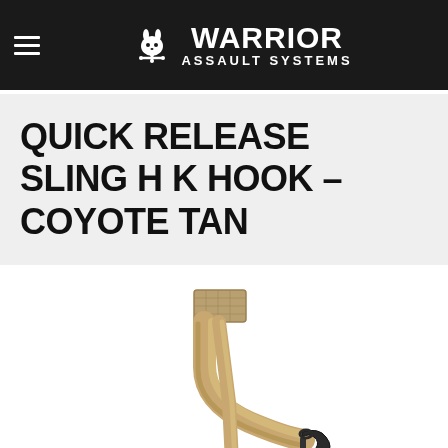Warrior Assault Systems
QUICK RELEASE SLING H K HOOK – COYOTE TAN
[Figure (photo): Product photo of a Quick Release Sling with HK Hook in Coyote Tan color, showing coyote tan webbing straps with a black HK-style hook attachment and a rectangular velcro tab.]